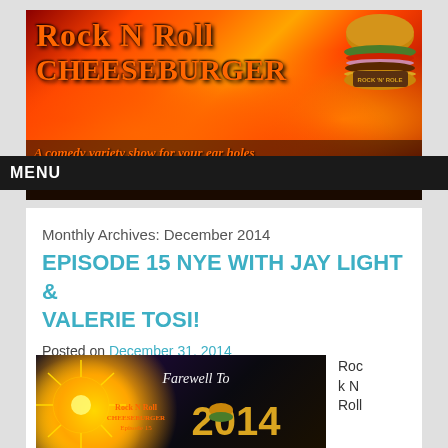[Figure (illustration): Rock N Roll Cheeseburger website banner with flames background, orange grunge text 'Rock N Roll CHEESEBURGER', a burger illustration on the right, and tagline 'A comedy variety show for your ear holes']
MENU
Monthly Archives: December 2014
EPISODE 15 NYE WITH JAY LIGHT & VALERIE TOSI!
Posted on December 31, 2014
[Figure (photo): Episode 15 thumbnail showing fireworks, Rock N Roll Cheeseburger logo, 'Farewell To' text and '2014' in gold letters]
Roc k N Roll